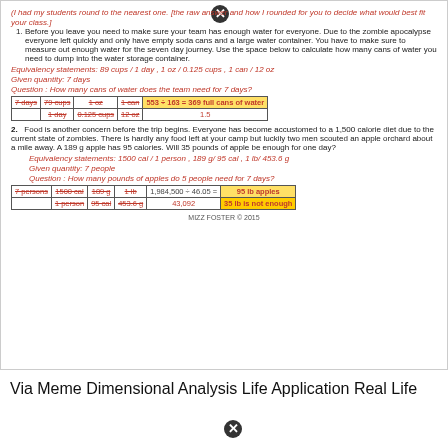(I had my students round to the nearest one. [the raw answer and how I rounded for you to decide what would best fit your class.]
1. Before you leave you need to make sure your team has enough water for everyone. Due to the zombie apocalypse everyone left quickly and only have empty soda cans and a large water container. You have to make sure to measure out enough water for the seven day journey. Use the space below to calculate how many cans of water you need to dump into the water storage container.
Equivalency statements: 89 cups / 1 day , 1 oz / 0.125 cups , 1 can / 12 oz
Given quantity: 7 days
Question : How many cans of water does the team need for 7 days?
| 7 days | 79 cups | 1 oz | 1 can | 553 ÷ 163 = 369 full cans of water |
| --- | --- | --- | --- | --- |
|  | 1 day | 0.125 cups | 12 oz | 1.5 |
2. Food is another concern before the trip begins. Everyone has become accustomed to a 1,500 calorie diet due to the current state of zombies. There is hardly any food left at your camp but luckily two men scouted an apple orchard about a mile away. A 189 g apple has 95 calories. Will 35 pounds of apple be enough for one day?
Equivalency statements: 1500 cal / 1 person , 189 g/ 95 cal , 1 lb/ 453.6 g
Given quantity: 7 people
Question : How many pounds of apples do 5 people need for 7 days?
| 7 persons | 1500 cal | 189 g | 1 lb | 1,984,500 ÷ 46.05 = 95 lb apples |
| --- | --- | --- | --- | --- |
|  | 1 person | 95 cal | 453.6 g | 43,092   35 lb is not enough |
MIZZ FOSTER © 2015
Via Meme Dimensional Analysis Life Application Real Life